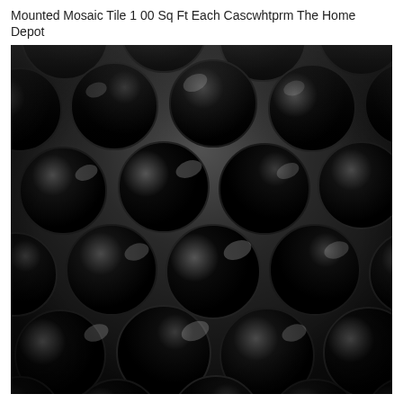Mounted Mosaic Tile 1 00 Sq Ft Each Cascwhtprm The Home Depot
[Figure (photo): Close-up photograph of black glossy penny round mosaic tiles arranged in a grid pattern on a mesh backing. The circular tiles are dark black/charcoal with a high-gloss finish, showing light reflections, viewed from a slight angle.]